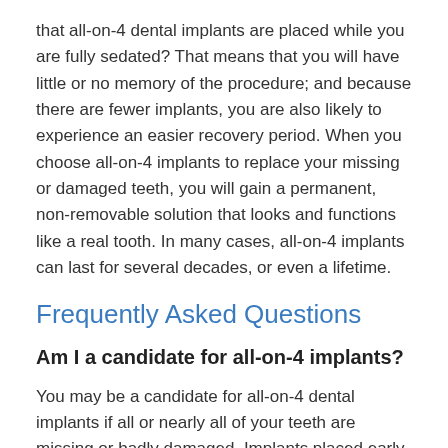that all-on-4 dental implants are placed while you are fully sedated? That means that you will have little or no memory of the procedure; and because there are fewer implants, you are also likely to experience an easier recovery period. When you choose all-on-4 implants to replace your missing or damaged teeth, you will gain a permanent, non-removable solution that looks and functions like a real tooth. In many cases, all-on-4 implants can last for several decades, or even a lifetime.
Frequently Asked Questions
Am I a candidate for all-on-4 implants?
You may be a candidate for all-on-4 dental implants if all or nearly all of your teeth are missing or badly damaged. Implants placed early after tooth loss can help prevent bone atrophy and also reduces the need for bone grafting. To find out more about all-on-4 dental implants, schedule a